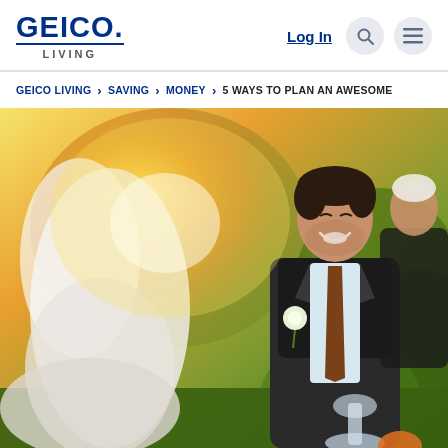GEICO LIVING — Log In
GEICO LIVING > SAVING > MONEY > 5 WAYS TO PLAN AN AWESOME
[Figure (photo): Wedding photo of a smiling bride and groom outdoors in golden sunlight. The groom wears a dark suit with a brown tie and white boutonniere. The bride wears a white gown and veil. A person in dark clothing is visible in the background.]